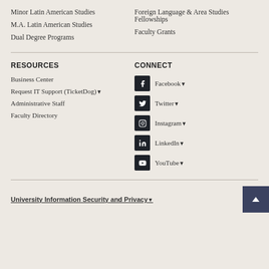Minor Latin American Studies
M.A. Latin American Studies
Dual Degree Programs
Foreign Language & Area Studies Fellowships
Faculty Grants
RESOURCES
Business Center
Request IT Support (TicketDog)↗
Administrative Staff
Faculty Directory
CONNECT
Facebook↗
Twitter↗
Instagram↗
LinkedIn↗
YouTube↗
University Information Security and Privacy↗